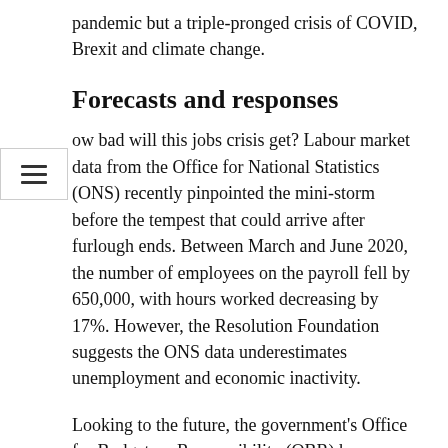pandemic but a triple-pronged crisis of COVID, Brexit and climate change.
Forecasts and responses
ow bad will this jobs crisis get? Labour market data from the Office for National Statistics (ONS) recently pinpointed the mini-storm before the tempest that could arrive after furlough ends. Between March and June 2020, the number of employees on the payroll fell by 650,000, with hours worked decreasing by 17%. However, the Resolution Foundation suggests the ONS data underestimates unemployment and economic inactivity.
Looking to the future, the government's Office for Budgetary Responsibility (OBR) has outlined three economic scenarios which foresee unemployment rising